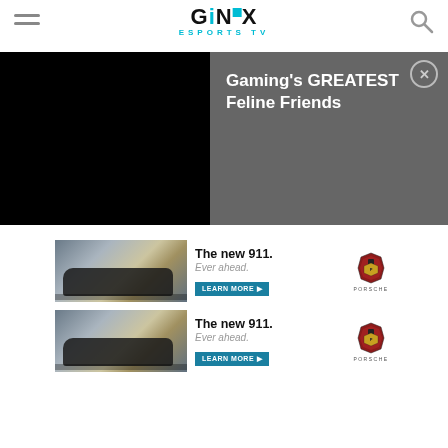GINX ESPORTS TV - Navigation header with hamburger menu and search icon
[Figure (screenshot): Dark overlay panel with black video area on left and text 'Gaming's GREATEST Feline Friends' on right with close button]
[Figure (advertisement): Porsche 911 advertisement banner 1: The new 911. Ever ahead. Learn More button with Porsche logo]
[Figure (advertisement): Porsche 911 advertisement banner 2: The new 911. Ever ahead. Learn More button with Porsche logo]